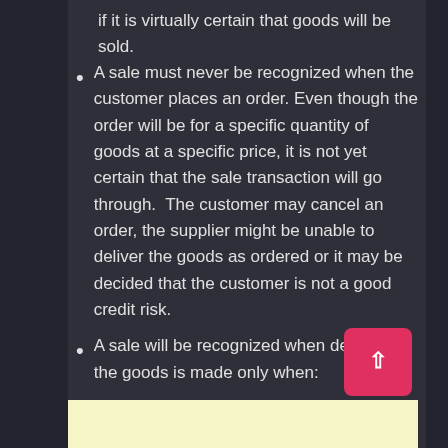if it is virtually certain that goods will be sold.
A sale must never be recognized when the customer places an order. Even though the order will be for a specific quantity of goods at a specific price, it is not yet certain that the sale transaction will go through.  The customer may cancel an order, the supplier might be unable to deliver the goods as ordered or it may be decided that the customer is not a good credit risk.
A sale will be recognized when delivery of the goods is made only when: